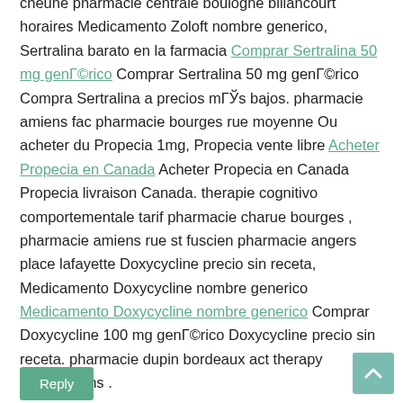cheune pharmacie centrale boulogne billancourt horaires Medicamento Zoloft nombre generico, Sertralina barato en la farmacia Comprar Sertralina 50 mg genérico Comprar Sertralina 50 mg genérico Compra Sertralina a precios más bajos. pharmacie amiens fac pharmacie bourges rue moyenne Ou acheter du Propecia 1mg, Propecia vente libre Acheter Propecia en Canada Acheter Propecia en Canada Propecia livraison Canada. therapie cognitivo comportementale tarif pharmacie charue bourges , pharmacie amiens rue st fuscien pharmacie angers place lafayette Doxycycline precio sin receta, Medicamento Doxycycline nombre generico Medicamento Doxycycline nombre generico Comprar Doxycycline 100 mg genérico Doxycycline precio sin receta. pharmacie dupin bordeaux act therapy interventions .